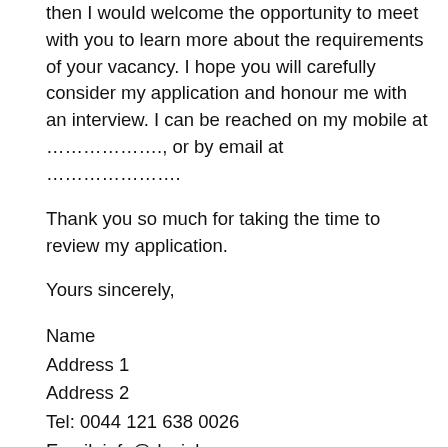then I would welcome the opportunity to meet with you to learn more about the requirements of your vacancy. I hope you will carefully consider my application and honour me with an interview. I can be reached on my mobile at ………………., or by email at …………………
Thank you so much for taking the time to review my application.
Yours sincerely,
Name
Address 1
Address 2
Tel: 0044 121 638 0026
Email: info@dayjob.com